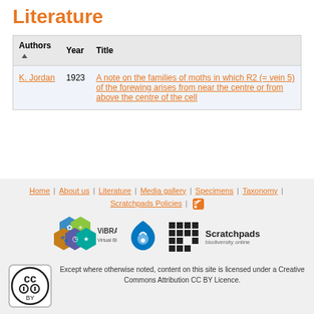Literature
| Authors | Year | Title |
| --- | --- | --- |
| K. Jordan | 1923 | A note on the families of moths in which R2 (= vein 5) of the forewing arises from near the centre or from above the centre of the cell |
Home | About us | Literature | Media gallery | Specimens | Taxonomy | Scratchpads Policies | [RSS]
[Figure (logo): ViBRANT Virtual Biodiversity logo with hexagonal icons]
[Figure (logo): Drupal water drop logo]
[Figure (logo): Scratchpads biodiversity online logo with grid icon]
[Figure (logo): Creative Commons CC BY badge]
Except where otherwise noted, content on this site is licensed under a Creative Commons Attribution CC BY Licence.